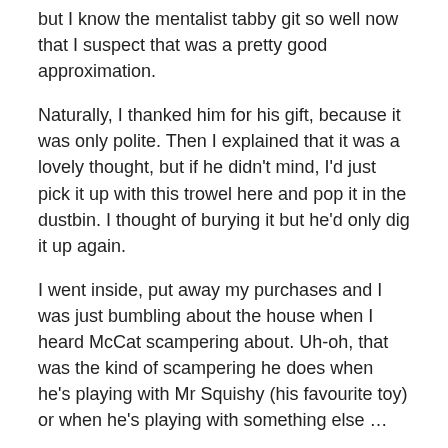but I know the mentalist tabby git so well now that I suspect that was a pretty good approximation.
Naturally, I thanked him for his gift, because it was only polite. Then I explained that it was a lovely thought, but if he didn't mind, I'd just pick it up with this trowel here and pop it in the dustbin. I thought of burying it but he'd only dig it up again.
I went inside, put away my purchases and I was just bumbling about the house when I heard McCat scampering about. Uh-oh, that was the kind of scampering he does when he's playing with Mr Squishy (his favourite toy) or when he's playing with something else …
'Squeak!' said somebody, who was very definitely not McCat!